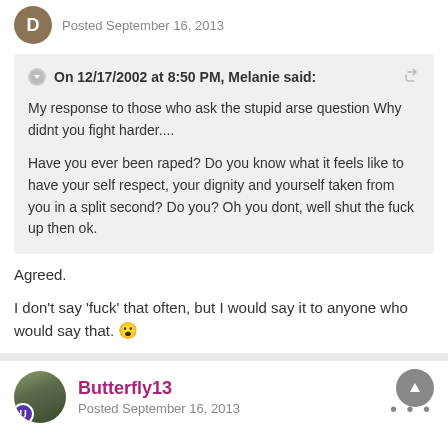Posted September 16, 2013
On 12/17/2002 at 8:50 PM, Melanie said:
My response to those who ask the stupid arse question Why didnt you fight harder....

Have you ever been raped? Do you know what it feels like to have your self respect, your dignity and yourself taken from you in a split second? Do you? Oh you dont, well shut the fuck up then ok.
Agreed.
I don't say 'fuck' that often, but I would say it to anyone who would say that.
Butterfly13
Posted September 16, 2013